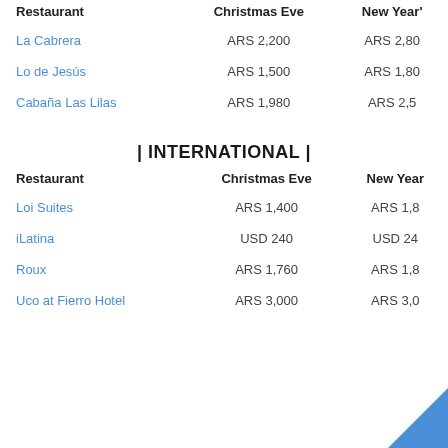| Restaurant | Christmas Eve | New Year's |
| --- | --- | --- |
| La Cabrera | ARS 2,200 | ARS 2,80 |
| Lo de Jesús | ARS 1,500 | ARS 1,80 |
| Cabaña Las Lilas | ARS 1,980 | ARS 2,5 |
| INTERNATIONAL |
| Restaurant | Christmas Eve | New Year |
| --- | --- | --- |
| Loi Suites | ARS 1,400 | ARS 1,8 |
| iLatina | USD 240 | USD 24 |
| Roux | ARS 1,760 | ARS 1,8 |
| Uco at Fierro Hotel | ARS 3,000 | ARS 3,0 |